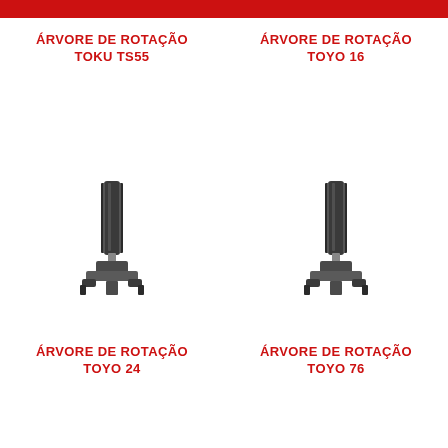ÁRVORE DE ROTAÇÃO TOKU TS55
ÁRVORE DE ROTAÇÃO TOYO 16
[Figure (illustration): Mechanical rotation shaft component (arbor) for TOYO 24 - dark cylindrical shaft with splined top and flanged base with clip mounts]
[Figure (illustration): Mechanical rotation shaft component (arbor) for TOYO 76 - dark cylindrical shaft with splined top and flanged base with clip mounts]
ÁRVORE DE ROTAÇÃO TOYO 24
ÁRVORE DE ROTAÇÃO TOYO 76